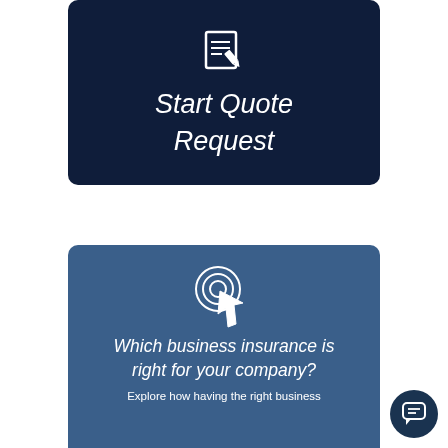[Figure (illustration): Dark navy card with a notebook-and-pencil icon and italic cursive text 'Start Quote Request' in white on dark navy background]
[Figure (illustration): Blue card with a click/cursor icon, italic cursive text 'Which business insurance is right for your company?' and subtitle 'Explore how having the right business']